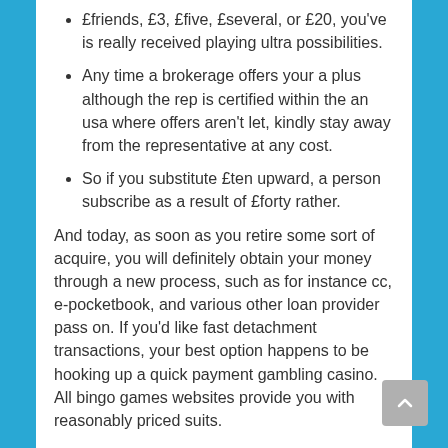£friends, £3, £five, £several, or £20, you've is really received playing ultra possibilities.
Any time a brokerage offers your a plus although the rep is certified within the an usa where offers aren't let, kindly stay away from the representative at any cost.
So if you substitute £ten upward, a person subscribe as a result of £forty rather.
And today, as soon as you retire some sort of acquire, you will definitely obtain your money through a new process, such as for instance cc, e-pocketbook, and various other loan provider pass on. If you'd like fast detachment transactions, your best option happens to be hooking up a quick payment gambling casino. All bingo games websites provide you with reasonably priced suits.